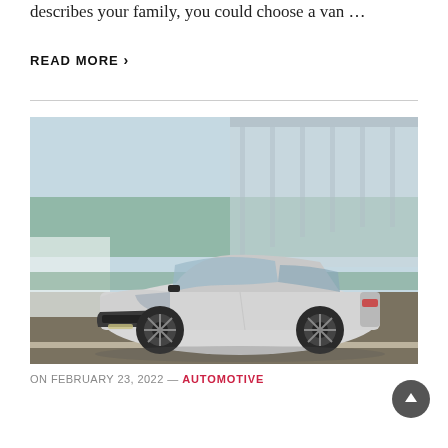describes your family, you could choose a van …
READ MORE ›
[Figure (photo): A white Toyota Corolla sedan driving on a highway with blurred background showing green barrier walls and overpass structure.]
ON FEBRUARY 23, 2022 — AUTOMOTIVE